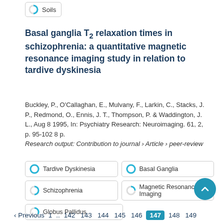Soils
Basal ganglia T2 relaxation times in schizophrenia: a quantitative magnetic resonance imaging study in relation to tardive dyskinesia
Buckley, P., O'Callaghan, E., Mulvany, F., Larkin, C., Stacks, J. P., Redmond, O., Ennis, J. T., Thompson, P. & Waddington, J. L., Aug 8 1995, In: Psychiatry Research: Neuroimaging. 61, 2, p. 95-102 8 p.
Research output: Contribution to journal › Article › peer-review
Tardive Dyskinesia
Basal Ganglia
Schizophrenia
Magnetic Resonance Imaging
Globus Pallidus
‹ Previous  1 .. 142  143  144  145  146  147  148  149